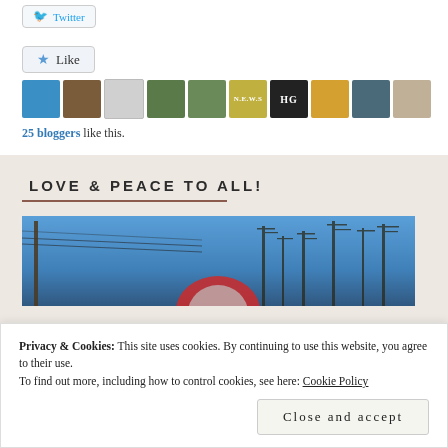[Figure (other): Twitter share button]
[Figure (other): Like button with star icon and blogger avatar thumbnails]
25 bloggers like this.
LOVE & PEACE TO ALL!
[Figure (photo): Outdoor photo showing blue sky, power lines, and bare winter trees]
Privacy & Cookies: This site uses cookies. By continuing to use this website, you agree to their use.
To find out more, including how to control cookies, see here: Cookie Policy
Close and accept